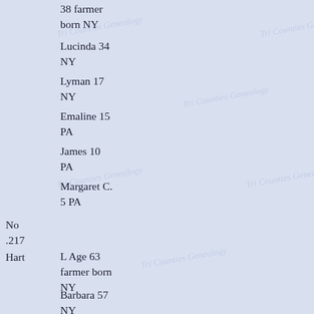38 farmer born NY
Lucinda 34 NY
Lyman 17 NY
Emaline 15 PA
James 10 PA
Margaret C. 5 PA
No .217
Hart
L Age 63 farmer born NY
Barbara 57 NY
Hannah 19 NY
Harriet 17 NY